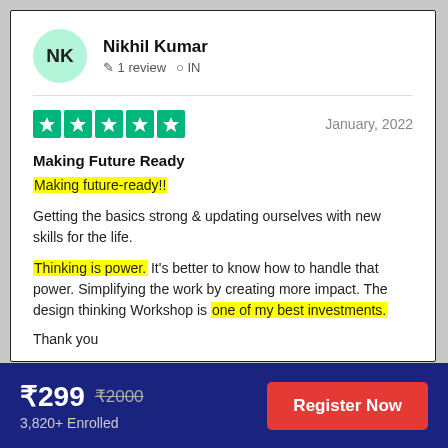NK
Nikhil Kumar
✏ 1 review  📍 IN
[Figure (infographic): Five green star rating boxes (Trustpilot style 5/5 stars)]
January, 2022
Making Future Ready
Making future-ready!! (highlighted in yellow)
Getting the basics strong & updating ourselves with new skills for the life.
Thinking is power. It's better to know how to handle that power. Simplifying the work by creating more impact. The design thinking Workshop is one of my best investments.
Thank you
₹299  ₹2000  3,820+ Enrolled
Register Now